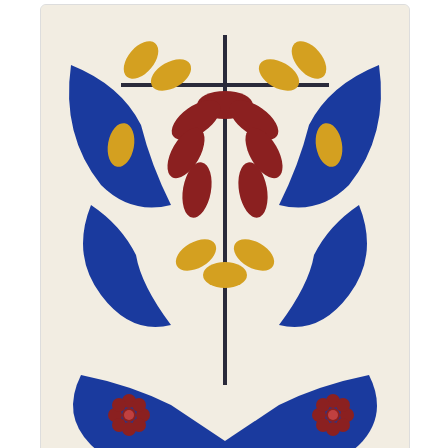[Figure (photo): Close-up of a Mexican Talavera decorative tile showing a floral symmetrical pattern with blue, dark red/maroon, and yellow/gold colors on a cream background. Blue curved leaf shapes form a border, maroon petals radiate from center with yellow accent petals, and small maroon flower motifs in corners.]
[Figure (photo): Thumbnail of the same Mexican Talavera tile showing the full square tile with blue corner decorations, central floral motif in maroon and yellow, and small flower accents.]
Wendi
$0.75 – $3.50